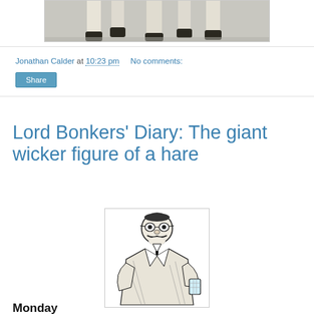[Figure (photo): Partial photo of horse legs/hooves on pavement, cropped at top]
Jonathan Calder at 10:23 pm   No comments:
Share
Lord Bonkers' Diary: The giant wicker figure of a hare
[Figure (illustration): Black and white cartoon illustration of a stout mustachioed man in a suit holding a drink glass]
Monday